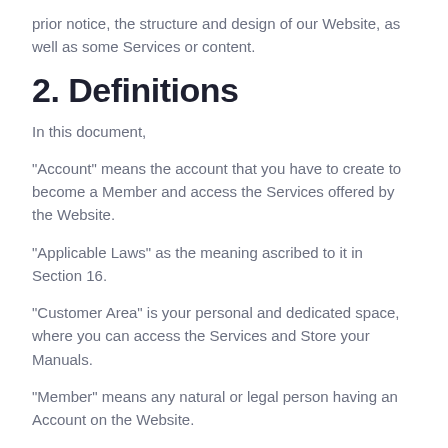prior notice, the structure and design of our Website, as well as some Services or content.
2. Definitions
In this document,
“Account” means the account that you have to create to become a Member and access the Services offered by the Website.
“Applicable Laws” as the meaning ascribed to it in Section 16.
“Customer Area” is your personal and dedicated space, where you can access the Services and Store your Manuals.
“Member” means any natural or legal person having an Account on the Website.
“Manuals” means all the user manuals on the database made available to Members.